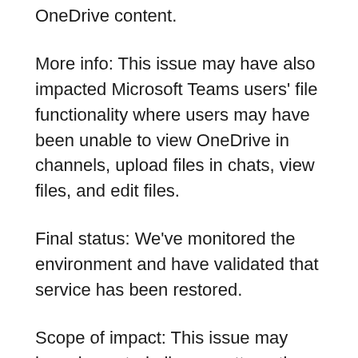OneDrive content.
More info: This issue may have also impacted Microsoft Teams users' file functionality where users may have been unable to view OneDrive in channels, upload files in chats, view files, and edit files.
Final status: We've monitored the environment and have validated that service has been restored.
Scope of impact: This issue may have impacted all users attempting to access OneDrive content.
Start time: Tuesday, July 14, 2020, at